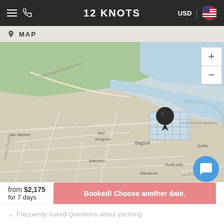12 KNOTS — USD navigation bar
MAP
[Figure (map): Interactive map showing coastal area near Bagnoli, San Gregoro, San Martino, Scafa, Marmaro, Marcaudo, Scafa Alta. A dark location pin marks a marina/harbor area. Road labels include VIA NAZIONALE MESSINA, LUNGOMARER ANDREA DORA. Zoom controls (+/-) on right side.]
from $2,175
for 7 days
Booked! Choose another date.
Frequently Asked Questions about yachting